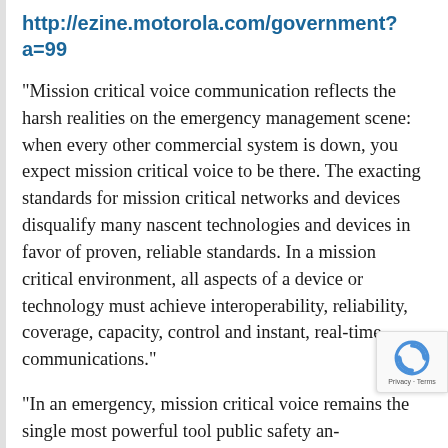http://ezine.motorola.com/government?a=99
“Mission critical voice communication reflects the harsh realities on the emergency management scene: when every other commercial system is down, you expect mission critical voice to be there. The exacting standards for mission critical networks and devices disqualify many nascent technologies and devices in favor of proven, reliable standards. In a mission critical environment, all aspects of a device or technology must achieve interoperability, reliability, coverage, capacity, control and instant, real-time communications.”
“In an emergency, mission critical voice remains the single most powerful tool public safety and government agencies have at their disposal to ensure the safety and well-being of first